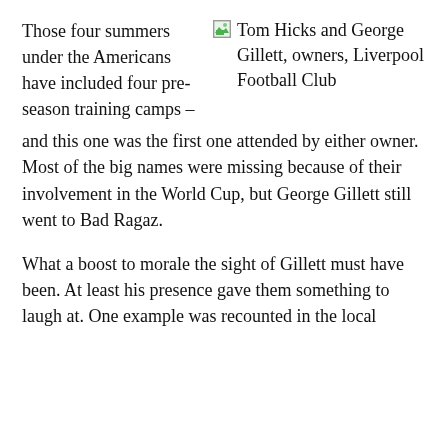Those four summers under the Americans have included four pre-season training camps –
[Figure (photo): Broken image placeholder for Tom Hicks and George Gillett, owners, Liverpool Football Club]
Tom Hicks and George Gillett, owners, Liverpool Football Club
and this one was the first one attended by either owner. Most of the big names were missing because of their involvement in the World Cup, but George Gillett still went to Bad Ragaz.
What a boost to morale the sight of Gillett must have been. At least his presence gave them something to laugh at. One example was recounted in the local